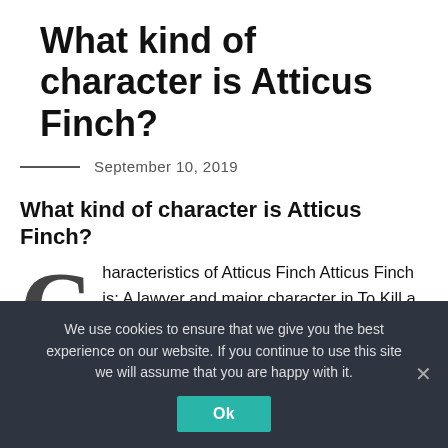What kind of character is Atticus Finch?
September 10, 2019
What kind of character is Atticus Finch?
Characteristics of Atticus Finch Atticus Finch is: A lawyer and major character in To Kill a Mockingbird. A single father to Scout and Jem. A character viewed as brave, honorable, respectful to others, wise, compassionate and thoughtful.
We use cookies to ensure that we give you the best experience on our website. If you continue to use this site we will assume that you are happy with it.